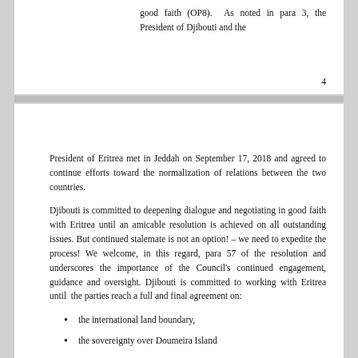good faith (OP8).  As noted in para 3, the President of Djibouti and the
4
President of Eritrea met in Jeddah on September 17, 2018 and agreed to continue efforts toward the normalization of relations between the two countries.
Djibouti is committed to deepening dialogue and negotiating in good faith with Eritrea until an amicable resolution is achieved on all outstanding issues. But continued stalemate is not an option! – we need to expedite the process! We welcome, in this regard, para 57 of the resolution and underscores the importance of the Council's continued engagement, guidance and oversight. Djibouti is committed to working with Eritrea until  the parties reach a full and final agreement on:
the international land boundary,
the sovereignty over Doumeira Island
the Maritime Boundary